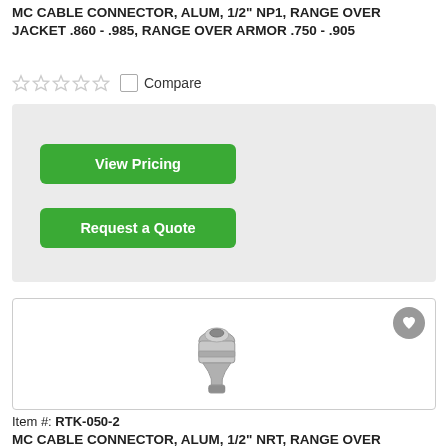MC CABLE CONNECTOR, ALUM, 1/2" NP1, RANGE OVER JACKET .860 - .985, RANGE OVER ARMOR .750 - .905
[Figure (screenshot): Star rating widget (5 empty stars) and Compare checkbox with label]
[Figure (screenshot): Grey pricing panel with two green buttons: 'View Pricing' and 'Request a Quote']
[Figure (photo): Product image of a metal MC cable connector (silvery/nickel finish) shown inside a bordered box with a heart/wishlist button in the top right corner]
Item #: RTK-050-2
MC CABLE CONNECTOR, ALUM, 1/2" NRT, RANGE OVER